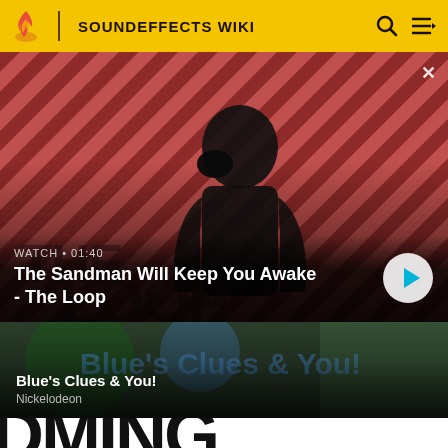SOUNDEFFECTS WIKI
[Figure (screenshot): Video thumbnail: The Sandman - man in black with raven on shoulder, diagonal red/black striped background. Watch timer 01:40.]
WATCH • 01:40
The Sandman Will Keep You Awake - The Loop
[Figure (screenshot): Card thumbnail: Blue's Clues & You! text on dark greenish background]
Blue's Clues & You!
Nickelodeon
[Figure (screenshot): Partial text reading 'DMING' in large black bold letters on white background]